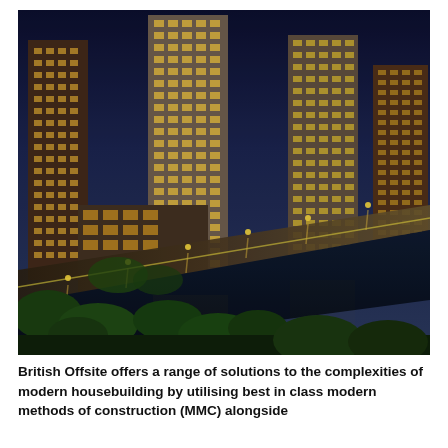[Figure (photo): Aerial night-time architectural rendering of a large modern mixed-use residential development with multiple high-rise tower blocks illuminated in warm light, set alongside a waterway with reflections, surrounded by green trees and landscaped public areas with street lighting and pedestrian paths.]
British Offsite offers a range of solutions to the complexities of modern housebuilding by utilising best in class modern methods of construction (MMC) alongside